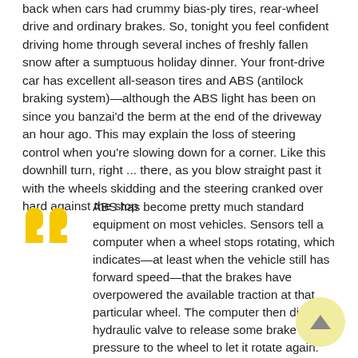back when cars had crummy bias-ply tires, rear-wheel drive and ordinary brakes. So, tonight you feel confident driving home through several inches of freshly fallen snow after a sumptuous holiday dinner. Your front-drive car has excellent all-season tires and ABS (antilock braking system)—although the ABS light has been on since you banzai'd the berm at the end of the driveway an hour ago. This may explain the loss of steering control when you're slowing down for a corner. Like this downhill turn, right ... there, as you blow straight past it with the wheels skidding and the steering cranked over hard against the stop
ABS has become pretty much standard equipment on most vehicles. Sensors tell a computer when a wheel stops rotating, which indicates—at least when the vehicle still has forward speed—that the brakes have overpowered the available traction at that particular wheel. The computer then directs a hydraulic valve to release some brake fluid pressure to the wheel to let it rotate again.